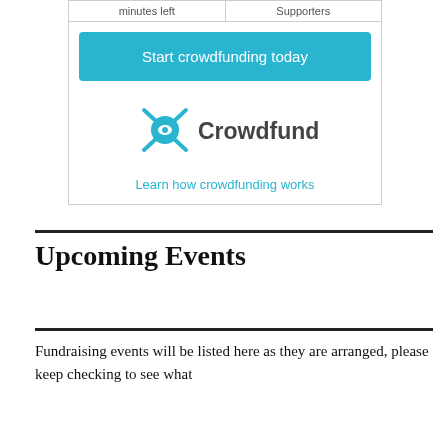| minutes left | Supporters |
| --- | --- |
Start crowdfunding today
[Figure (logo): Crowdfunder logo with teal person icon and 'Crowdfunder' text in dark grey]
Learn how crowdfunding works
Upcoming Events
Fundraising events will be listed here as they are arranged, please keep checking to see what